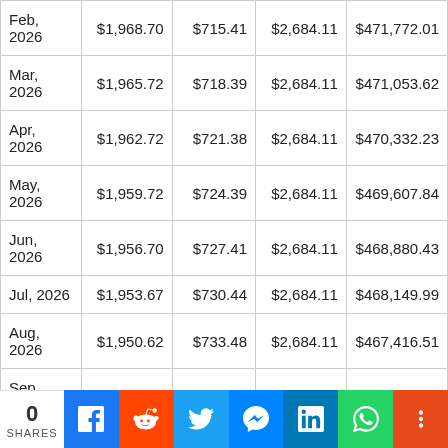| Feb, 2026 | $1,968.70 | $715.41 | $2,684.11 | $471,772.01 |
| Mar, 2026 | $1,965.72 | $718.39 | $2,684.11 | $471,053.62 |
| Apr, 2026 | $1,962.72 | $721.38 | $2,684.11 | $470,332.23 |
| May, 2026 | $1,959.72 | $724.39 | $2,684.11 | $469,607.84 |
| Jun, 2026 | $1,956.70 | $727.41 | $2,684.11 | $468,880.43 |
| Jul, 2026 | $1,953.67 | $730.44 | $2,684.11 | $468,149.99 |
| Aug, 2026 | $1,950.62 | $733.48 | $2,684.11 | $467,416.51 |
| Sep, 2026 | $1,947.57 | $736.54 | $2,684.11 | $466,679.97 |